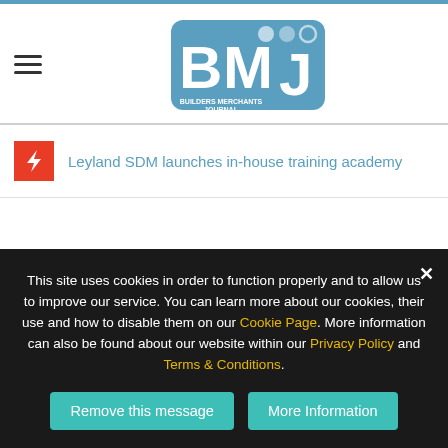[Figure (logo): BMJ Builders Merchants Journal logo - blue rounded rectangle with BMJ letters and circles]
Leyland SDM launches in-house training academy
This site uses cookies in order to function properly and to allow us to improve our service. You can learn more about our cookies, their use and how to disable them on our Cookie Page. More information can also be found about our website within our Privacy Policy and Terms & Conditions.
Remove this message
More Information